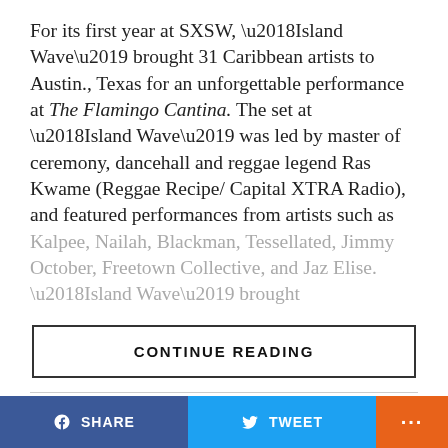For its first year at SXSW, ‘Island Wave’ brought 31 Caribbean artists to Austin., Texas for an unforgettable performance at The Flamingo Cantina. The set at ‘Island Wave’ was led by master of ceremony, dancehall and reggae legend Ras Kwame (Reggae Recipe/ Capital XTRA Radio), and featured performances from artists such as Kalpee, Nailah, Blackman, Tessellated, Jimmy October, Freetown Collective, and Jaz Elise. ‘Island Wave’ brought
CONTINUE READING
MUSIC VIDEOS
Offset Releases New Single & Music
SHARE   TWEET   ...